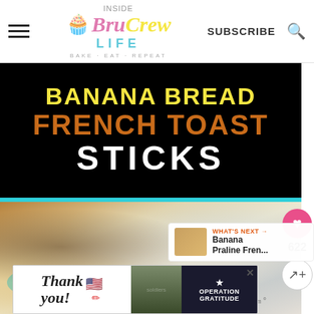Inside Bru Crew Life - BAKE. EAT. REPEAT. | SUBSCRIBE
[Figure (infographic): Black background banner with text: BANANA BREAD in yellow, FRENCH TOAST in orange, STICKS in white bold uppercase letters]
[Figure (photo): Food photo showing banana bread french toast sticks on a teal plate with banana slices, with a white cup in background]
622
WHAT'S NEXT → Banana Praline Fren...
[Figure (infographic): Advertisement banner: Thank you with pencil, soldiers photo, Operation Gratitude logo]